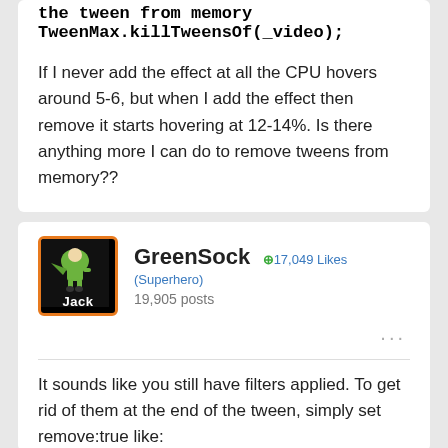the tween from memory
TweenMax.killTweensOf(_video);

If I never add the effect at all the CPU hovers around 5-6, but when I add the effect then remove it starts hovering at 12-14%. Is there anything more I can do to remove tweens from memory??
GreenSock +17,049 Likes (Superhero)
19,905 posts
It sounds like you still have filters applied. To get rid of them at the end of the tween, simply set remove:true like: